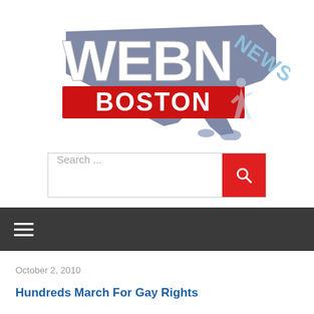[Figure (logo): WEBN Boston News logo with Massachusetts state silhouette in dark blue, bold white WEBN text, red BOSTON banner, and light blue NEWS text]
Search ...
≡ (hamburger menu navigation bar)
October 2, 2010
Hundreds March For Gay Rights